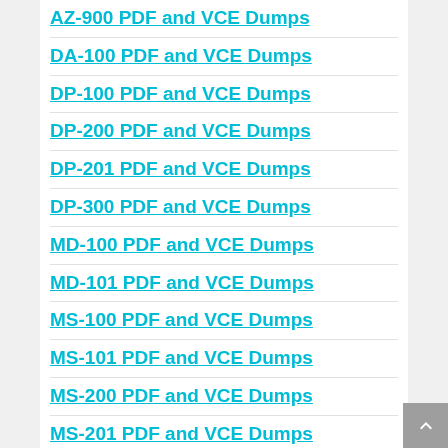AZ-900 PDF and VCE Dumps
DA-100 PDF and VCE Dumps
DP-100 PDF and VCE Dumps
DP-200 PDF and VCE Dumps
DP-201 PDF and VCE Dumps
DP-300 PDF and VCE Dumps
MD-100 PDF and VCE Dumps
MD-101 PDF and VCE Dumps
MS-100 PDF and VCE Dumps
MS-101 PDF and VCE Dumps
MS-200 PDF and VCE Dumps
MS-201 PDF and VCE Dumps
MS-300 PDF and VCE Dumps
MS-301 PDF and VCE Dumps
MS-500 PDF and VCE Dumps
MS-600 PDF and VCE Dumps